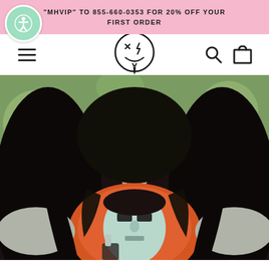"MHVIP" TO 855-660-0353 FOR 20% OFF YOUR FIRST ORDER
[Figure (screenshot): E-commerce website navigation header with pink announcement banner, hamburger menu, smiley face logo, search and cart icons]
[Figure (photo): Woman with long dark hair wearing a gray t-shirt featuring a graphic print of Michael Myers (Halloween movie character) with orange and black design, photographed outdoors with green blurred background]